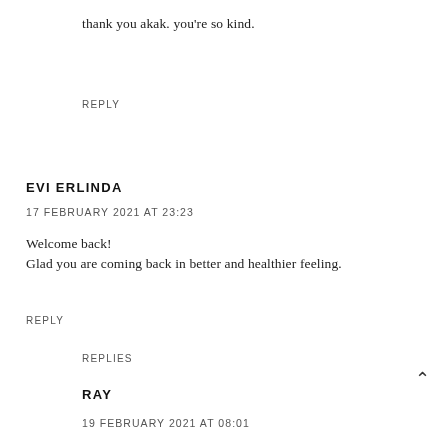thank you akak. you're so kind.
REPLY
EVI ERLINDA
17 FEBRUARY 2021 AT 23:23
Welcome back!
Glad you are coming back in better and healthier feeling.
REPLY
REPLIES
RAY
19 FEBRUARY 2021 AT 08:01